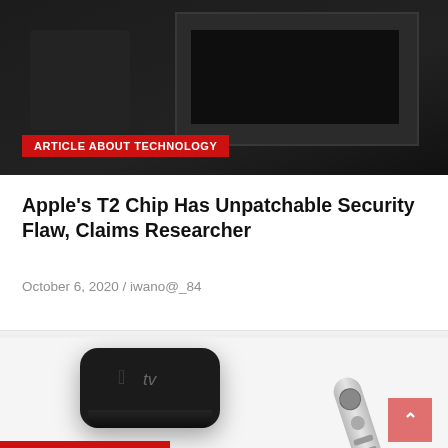[Figure (photo): Dark background with a TV screen showing dark display, with a red banner overlay reading ARTICLE ABOUT TECHNOLOGY]
ARTICLE ABOUT TECHNOLOGY
Apple’s T2 Chip Has Unpatchable Security Flaw, Claims Researcher
October 6, 2020 / iwano@_84
[Figure (photo): Apple TV box (black square device) and Apple TV remote control on white background]